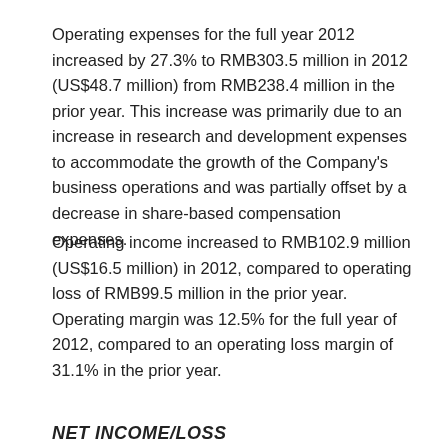Operating expenses for the full year 2012 increased by 27.3% to RMB303.5 million in 2012 (US$48.7 million) from RMB238.4 million in the prior year. This increase was primarily due to an increase in research and development expenses to accommodate the growth of the Company's business operations and was partially offset by a decrease in share-based compensation expenses.
Operating income increased to RMB102.9 million (US$16.5 million) in 2012, compared to operating loss of RMB99.5 million in the prior year. Operating margin was 12.5% for the full year of 2012, compared to an operating loss margin of 31.1% in the prior year.
NET INCOME/LOSS